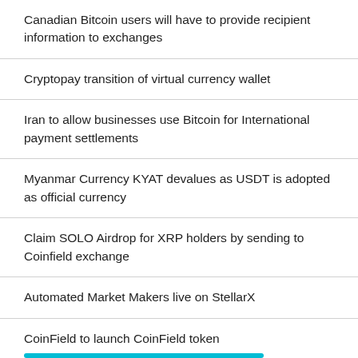Canadian Bitcoin users will have to provide recipient information to exchanges
Cryptopay transition of virtual currency wallet
Iran to allow businesses use Bitcoin for International payment settlements
Myanmar Currency KYAT devalues as USDT is adopted as official currency
Claim SOLO Airdrop for XRP holders by sending to Coinfield exchange
Automated Market Makers live on StellarX
CoinField to launch CoinField token